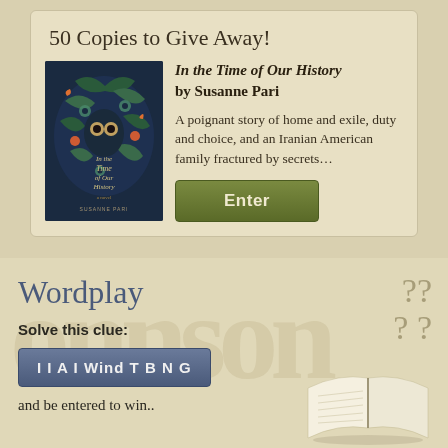50 Copies to Give Away!
[Figure (illustration): Book cover of 'In the Time of Our History' by Susanne Pari featuring decorative birds and foliage on dark background]
In the Time of Our History by Susanne Pari
A poignant story of home and exile, duty and choice, and an Iranian American family fractured by secrets…
Enter
Wordplay
Solve this clue:
I I A I Wind T B N G
and be entered to win..